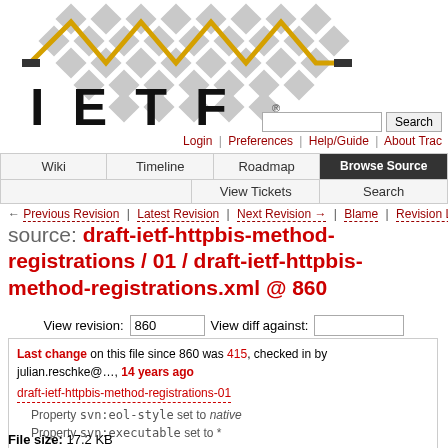[Figure (logo): IETF logo with diamond pattern and zigzag gold line, with large IETF text below]
Login | Preferences | Help/Guide | About Trac
Wiki | Timeline | Roadmap | Browse Source | View Tickets | Search
← Previous Revision | Latest Revision | Next Revision → | Blame | Revision Log
source: draft-ietf-httpbis-method-registrations / 01 / draft-ietf-httpbis-method-registrations.xml @ 860
View revision: 860    View diff against:
Last change on this file since 860 was 415, checked in by julian.reschke@..., 14 years ago
draft-ietf-httpbis-method-registrations-01
Property svn:eol-style set to native
Property svn:executable set to *
File size: 17.2 KB